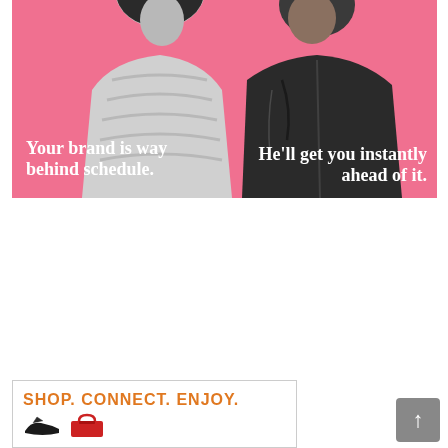[Figure (photo): Advertisement banner with pink background showing two people (a woman in a light puffer jacket and a man in a dark jacket) back to back. Left side text: 'Your brand is way behind schedule.' Right side text: 'He'll get you instantly ahead of it.']
[Figure (infographic): Small advertisement banner with border showing orange text 'SHOP. CONNECT. ENJOY.' and partial icons below.]